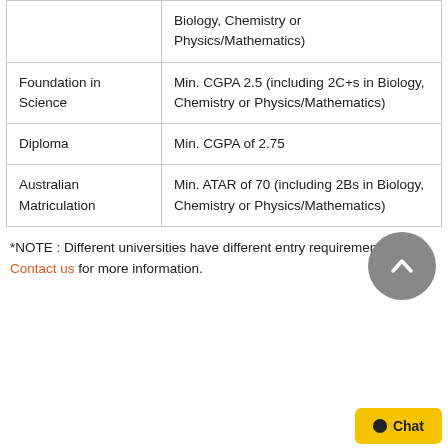| Qualification | Entry Requirement |
| --- | --- |
|  | Biology, Chemistry or Physics/Mathematics) |
| Foundation in Science | Min. CGPA 2.5 (including 2C+s in Biology, Chemistry or Physics/Mathematics) |
| Diploma | Min. CGPA of 2.75 |
| Australian Matriculation | Min. ATAR of 70 (including 2Bs in Biology, Chemistry or Physics/Mathematics) |
*NOTE : Different universities have different entry requirements. Contact us for more information.